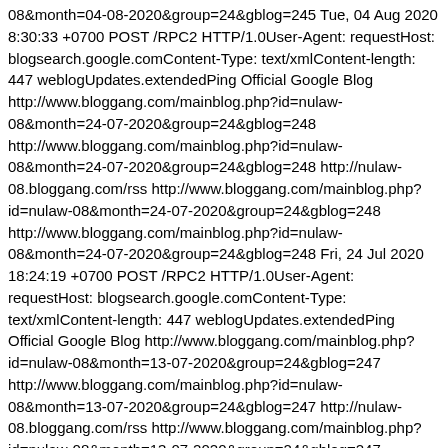08&month=04-08-2020&group=24&gblog=245 Tue, 04 Aug 2020 8:30:33 +0700 POST /RPC2 HTTP/1.0User-Agent: requestHost: blogsearch.google.comContent-Type: text/xmlContent-length: 447 weblogUpdates.extendedPing Official Google Blog http://www.bloggang.com/mainblog.php?id=nulaw-08&month=24-07-2020&group=24&gblog=248 http://www.bloggang.com/mainblog.php?id=nulaw-08&month=24-07-2020&group=24&gblog=248 http://nulaw-08.bloggang.com/rss http://www.bloggang.com/mainblog.php?id=nulaw-08&month=24-07-2020&group=24&gblog=248 http://www.bloggang.com/mainblog.php?id=nulaw-08&month=24-07-2020&group=24&gblog=248 Fri, 24 Jul 2020 18:24:19 +0700 POST /RPC2 HTTP/1.0User-Agent: requestHost: blogsearch.google.comContent-Type: text/xmlContent-length: 447 weblogUpdates.extendedPing Official Google Blog http://www.bloggang.com/mainblog.php?id=nulaw-08&month=13-07-2020&group=24&gblog=247 http://www.bloggang.com/mainblog.php?id=nulaw-08&month=13-07-2020&group=24&gblog=247 http://nulaw-08.bloggang.com/rss http://www.bloggang.com/mainblog.php?id=nulaw-08&month=13-07-2020&group=24&gblog=247 http://www.bloggang.com/mainblog.php?id=nulaw-08&month=13-07-2020&group=24&gblog=247 Mon, 13 Jul 2020 10:23:31 +0700 POST /RPC2 HTTP/1.0User-Agent: requestHost: blogsearch.google.comContent-Type: text/xmlContent-length: 447 weblogUpdates.extendedPing Official Google Blog